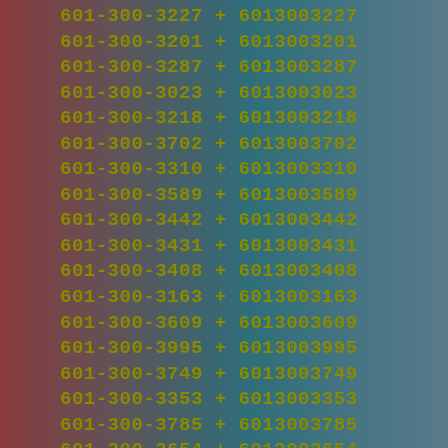601-300-3227 + 6013003227
601-300-3201 + 6013003201
601-300-3287 + 6013003287
601-300-3023 + 6013003023
601-300-3218 + 6013003218
601-300-3702 + 6013003702
601-300-3310 + 6013003310
601-300-3589 + 6013003589
601-300-3442 + 6013003442
601-300-3431 + 6013003431
601-300-3408 + 6013003408
601-300-3163 + 6013003163
601-300-3609 + 6013003609
601-300-3995 + 6013003995
601-300-3749 + 6013003749
601-300-3353 + 6013003353
601-300-3785 + 6013003785
601-300-3654 + 6013003654
601-300-3184 + 6013003184
601-300-3992 + 6013003992
601-300-3262 + 6013003262
601-300-3152 + 6013003152
601-300-3500 + 6013003500